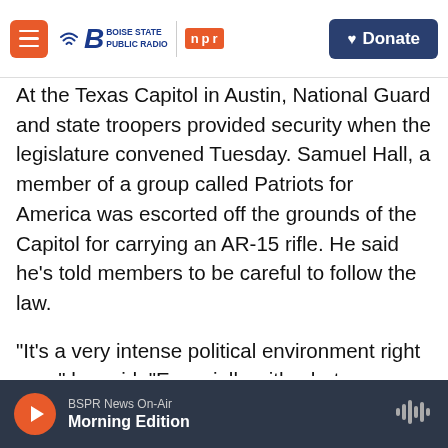Boise State Public Radio | NPR — Donate
At the Texas Capitol in Austin, National Guard and state troopers provided security when the legislature convened Tuesday. Samuel Hall, a member of a group called Patriots for America was escorted off the grounds of the Capitol for carrying an AR-15 rifle. He said he's told members to be careful to follow the law.
"It's a very intense political environment right now," he said. "Especially with what happened in D.C., we have to be explicitly careful."
Outside the Texas Capitol, members of a group
BSPR News On-Air — Morning Edition